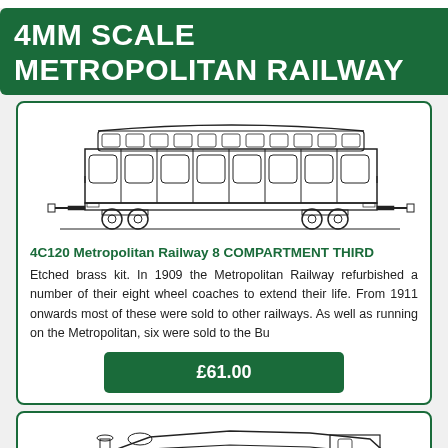4MM SCALE METROPOLITAN RAILWAY
[Figure (illustration): Black and white line drawing of a Metropolitan Railway 8-compartment third coach, showing side elevation with wheels, windows, and underframe detail.]
4C120 Metropolitan Railway 8 COMPARTMENT THIRD
Etched brass kit. In 1909 the Metropolitan Railway refurbished a number of their eight wheel coaches to extend their life. From 1911 onwards most of these were sold to other railways. As well as running on the Metropolitan, six were sold to the Bu
£61.00
[Figure (illustration): Partial black and white line drawing of another railway vehicle, partially visible at bottom of page.]